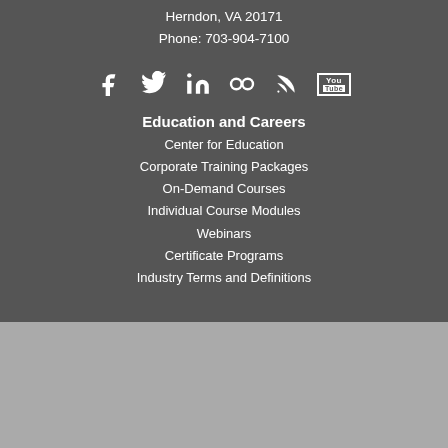Herndon, VA 20171
Phone: 703-904-7100
[Figure (infographic): Social media icons row: Facebook, Twitter, LinkedIn, Flickr, RSS, YouTube]
Education and Careers
Center for Education
Corporate Training Packages
On-Demand Courses
Individual Course Modules
Webinars
Certificate Programs
Industry Terms and Definitions
This website uses cookies to help NAIOP provide you the best user experience. By visiting this site, you agree to our updated Privacy and Terms of Use Policy